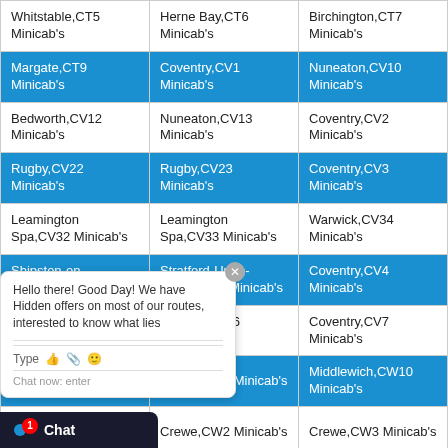| Whitstable,CT5 Minicab's | Herne Bay,CT6 Minicab's | Birchington,CT7 Minicab's |
| Margate,CT9 Minicab's | Coventry,CV1 Minicab's | Nuneaton,CV10 Minicab's |
| Bedworth,CV12 Minicab's | Nuneaton,CV13 Minicab's | Coventry,CV2 Minicab's |
| Rugby,CV22 Minicab's | Rugby,CV23 Minicab's | Coventry,CV3 Minicab's |
| Leamington Spa,CV32 Minicab's | Leamington Spa,CV33 Minicab's | Warwick,CV34 Minicab's |
| Shipston-on-Stour,CV36 Minicab's | Stratford-Upon-Avon,CV37 Minicab's | Coventry,CV4 Minicab's |
| Coventry,CV5 Minicab's | Coventry,CV6 Minicab's | Coventry,CV7 Minicab's |
| Atherstone,CV9 Minicab's | Crewe,CW1 Minicab's | Middlewich,CW10 Minicab's |
| Congleton,CW12 Minicab's | Crewe,CW2 Minicab's | Crewe,CW3 Minicab's |
| Nantwich,CW5 Minicab's | Tarporley,CW6 Minicab's | Winsford,CW7 Minicab's |